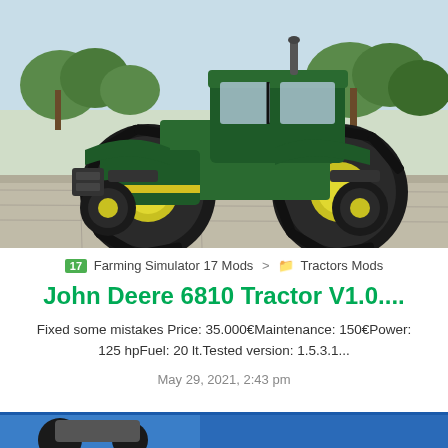[Figure (screenshot): Screenshot of a green John Deere 6810 tractor with yellow rims standing on a concrete/gravel surface, from Farming Simulator 17 video game. Trees and sky visible in background.]
🌿 Farming Simulator 17 Mods > 📁 Tractors Mods
John Deere 6810 Tractor V1.0....
Fixed some mistakes Price: 35.000€Maintenance: 150€Power: 125 hpFuel: 20 lt.Tested version: 1.5.3.1...
May 29, 2021, 2:43 pm
[Figure (screenshot): Partial preview of another mod item at the bottom of the page, showing a vehicle image with blue banner.]